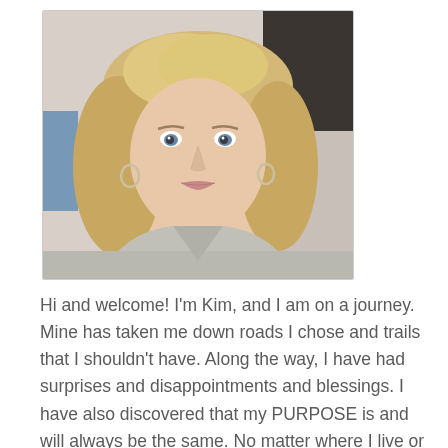[Figure (photo): Portrait photo of a middle-aged woman with blonde wavy hair, blue eyes, wearing a light gray sweater and hoop earrings, taking a selfie indoors.]
Hi and welcome! I'm Kim, and I am on a journey. Mine has taken me down roads I chose and trails that I shouldn't have. Along the way, I have had surprises and disappointments and blessings. I have also discovered that my PURPOSE is and will always be the same. No matter where I live or what I do, my God-given purpose is to: